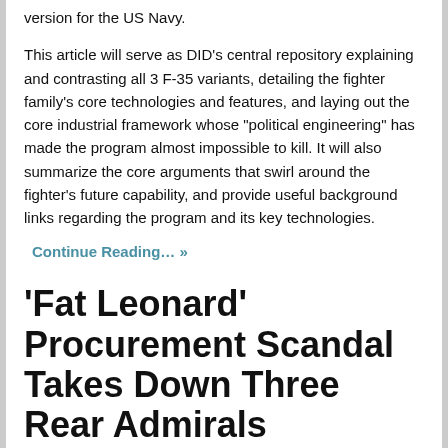version for the US Navy.
This article will serve as DID’s central repository explaining and contrasting all 3 F-35 variants, detailing the fighter family’s core technologies and features, and laying out the core industrial framework whose “political engineering” has made the program almost impossible to kill. It will also summarize the core arguments that swirl around the fighter’s future capability, and provide useful background links regarding the program and its key technologies.
Continue Reading… »
‘Fat Leonard’ Procurement Scandal Takes Down Three Rear Admirals